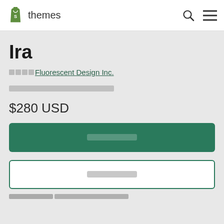Shopify Themes
Ira
[redacted] Fluorescent Design Inc.
[redacted rating/review text]
$280 USD
[Buy button - redacted]
[Secondary button - redacted]
[Footer link - redacted]